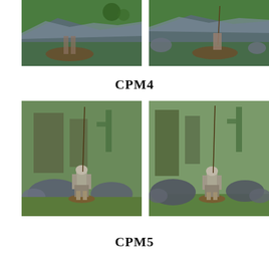[Figure (photo): Partial top-left photo of a painted miniature figure on a green grass base with a grey rocky terrain piece]
[Figure (photo): Partial top-right photo of a painted miniature figure on a green grass base with a grey rocky terrain piece]
CPM4
[Figure (photo): Front view of a painted miniature soldier with spear standing on a base, surrounded by rocks and greenery background]
[Figure (photo): Side/back view of a painted miniature soldier with spear standing on a base, surrounded by rocks and greenery background]
CPM5